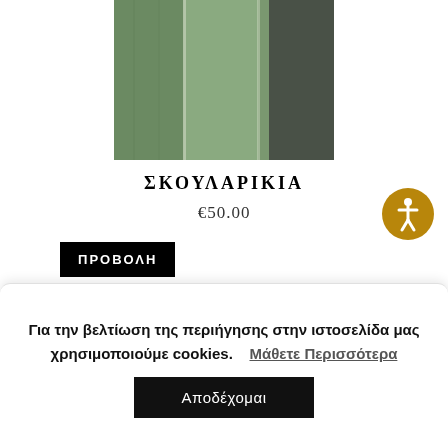[Figure (photo): Product photo showing green painted wooden panels with a dark figure/shadow on the right side]
ΣΚΟΥΛΑΡΙΚΙΑ
€50.00
[Figure (illustration): Circular gold accessibility icon button with white wheelchair person symbol]
ΠΡΟΒΟΛΗ
Για την βελτίωση της περιήγησης στην ιστοσελίδα μας χρησιμοποιούμε cookies.   Μάθετε Περισσότερα
Αποδέχομαι